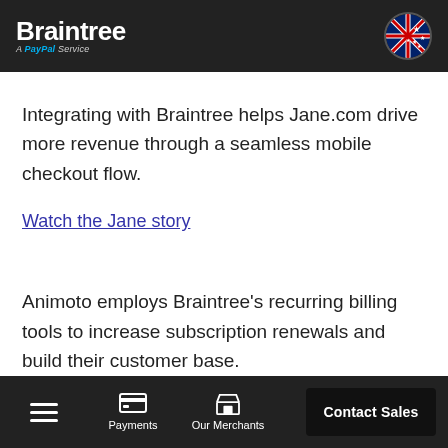Braintree — A PayPal Service
Integrating with Braintree helps Jane.com drive more revenue through a seamless mobile checkout flow.
Watch the Jane story
Animoto employs Braintree's recurring billing tools to increase subscription renewals and build their customer base.
Payments | Our Merchants | Contact Sales